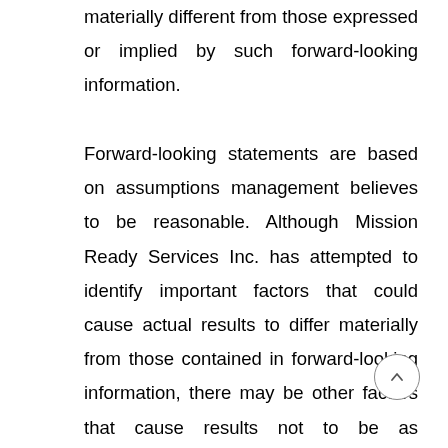materially different from those expressed or implied by such forward-looking information.

Forward-looking statements are based on assumptions management believes to be reasonable. Although Mission Ready Services Inc. has attempted to identify important factors that could cause actual results to differ materially from those contained in forward-looking information, there may be other factors that cause results not to be as anticipated, estimated or intended. There can be no assurance that such information will prove to be accurate, as actual results and future events could differ materially